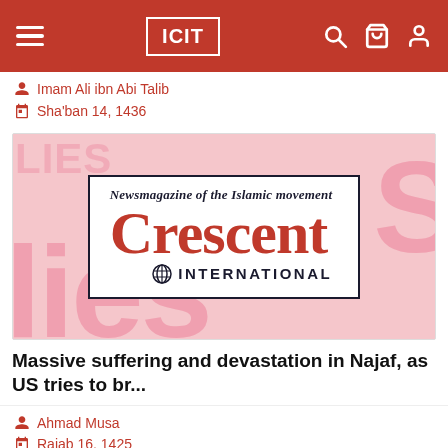ICIT
Imam Ali ibn Abi Talib
Sha'ban 14, 1436
[Figure (logo): Crescent International magazine logo with tagline 'Newsmagazine of the Islamic movement' on a pink background with faint 'lies' watermark text]
Massive suffering and devastation in Najaf, as US tries to br...
Ahmad Musa
Rajab 16, 1425